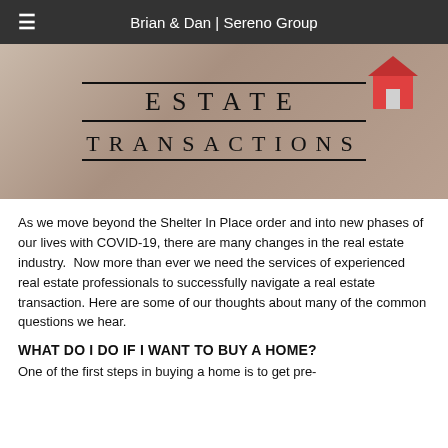Brian & Dan | Sereno Group
[Figure (photo): Hero image with text overlay reading ESTATE TRANSACTIONS on a background showing house keys and a miniature house model]
As we move beyond the Shelter In Place order and into new phases of our lives with COVID-19, there are many changes in the real estate industry.  Now more than ever we need the services of experienced real estate professionals to successfully navigate a real estate transaction. Here are some of our thoughts about many of the common questions we hear.
WHAT DO I DO IF I WANT TO BUY A HOME?
One of the first steps in buying a home is to get pre-